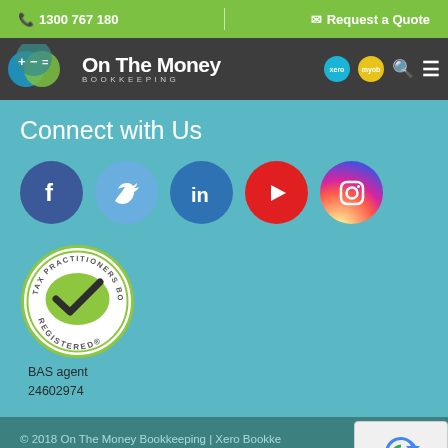1300 767 180 | Request a Quote
[Figure (logo): On The Money Bookkeeping logo with coloured circles and text]
Connect with Us
[Figure (infographic): Social media icons: Facebook, Twitter, LinkedIn, YouTube, Instagram]
[Figure (logo): Tax Practitioners Board Registered circular seal badge]
BAS agent
24602974
© 2018 On The Money Bookkeeping | Xero Bookkeeping Specialists Australia | Sitemap | Privacy Policy | Website